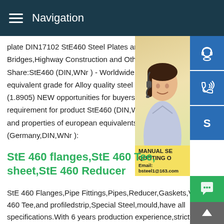Navigation
plate DIN17102 StE460 Steel Plates are u Bridges,Highway Construction and Other N Share:StE460 (DIN,WNr ) - Worldwide equ equivalent grade for Alloy quality steel StE (1.8905) NEW opportunities for buyers! Po requirement for product StE460 (DIN,WNr and properties of european equivalents (E (Germany,DIN,WNr ):
[Figure (photo): Customer service woman wearing headset with blue icon buttons for support, phone, and Skype on the right side, and a yellow promotional box showing MANUAL SE, QUOTING O, Email: bsteel1@163.com]
StE 460 flanges,StE 460 Tee, sheet,StE 460 Reducer
StE 460 Flanges,Pipe Fittings,Pipes,Reducer,Gaskets,Valves,StE 460 Tee,and profiledstrip,Special Steel,mould,have all specifications.With 6 years production experience,strict contro 460 chemical composition and StE 460 mechanical properties.From casting,Tee,steel to hot and cold rolling